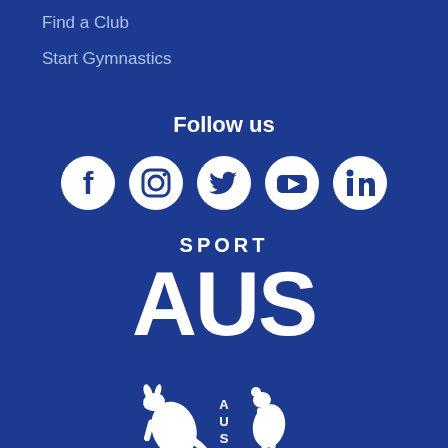Find a Club
Start Gymnastics
Follow us
[Figure (logo): Social media icons: Facebook, Instagram, Twitter, YouTube, LinkedIn — white circles on dark blue background]
[Figure (logo): Sport AUS logo — white text on dark blue: SPORT AUS in bold block letters]
[Figure (logo): AUS Commonwealth Games logo — kangaroo and emu with AUS text and COMMONWEALTH GAMES text in white on dark blue]